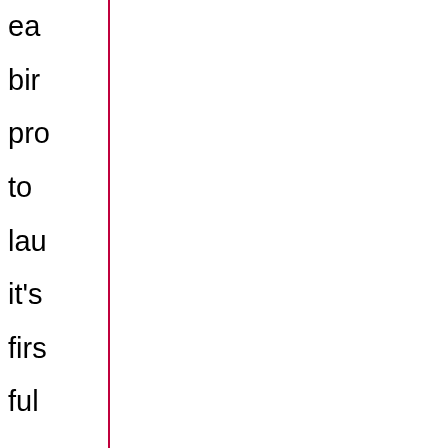ea bir pro to la it's firs ful se Tra wh bo no th Ma 31 20 wi re